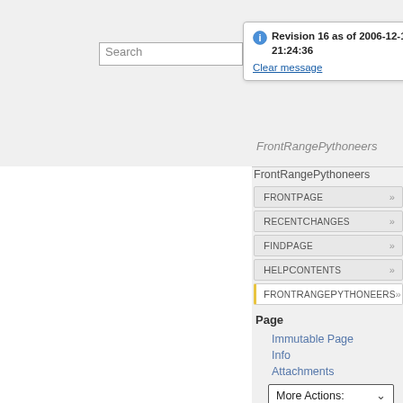Search
Revision 16 as of 2006-12-15 21:24:36
Clear message
FrontRangePythoneers
FrontPage >>
RecentChanges >>
FindPage >>
HelpContents >>
FrontRangePythoneers >>
Page
Immutable Page
Info
Attachments
More Actions:
User
Login
Activities